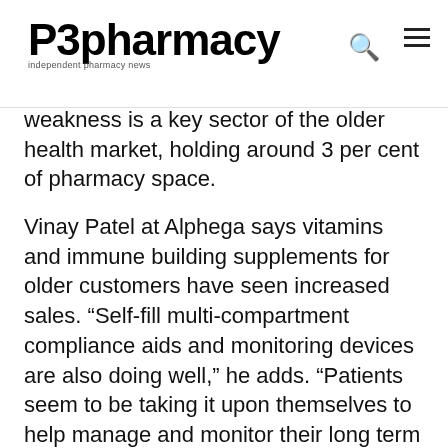P3pharmacy
weakness is a key sector of the older health market, holding around 3 per cent of pharmacy space.
Vinay Patel at Alphega says vitamins and immune building supplements for older customers have seen increased sales. “Self-fill multi-compartment compliance aids and monitoring devices are also doing well,” he adds. “Patients seem to be taking it upon themselves to help manage and monitor their long term conditions.”
• GOPO Joint Health has collaborated with NHS-backed fitness initiative Move it or Lose it to provide older people with safe and supportive environments